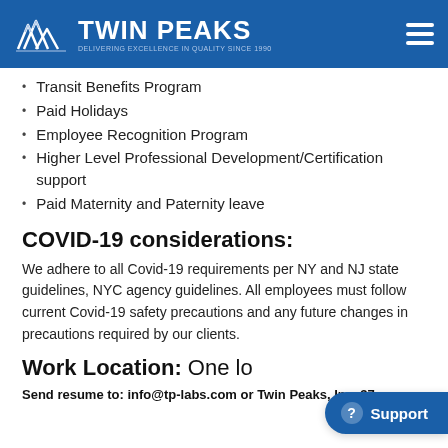TWIN PEAKS — DELIVERING EXCELLENCE IN QUALITY SINCE 1990
Transit Benefits Program
Paid Holidays
Employee Recognition Program
Higher Level Professional Development/Certification support
Paid Maternity and Paternity leave
COVID-19 considerations:
We adhere to all Covid-19 requirements per NY and NJ state guidelines, NYC agency guidelines. All employees must follow current Covid-19 safety precautions and any future changes in precautions required by our clients.
Work Location: One l
Send resume to: info@tp-labs.com or Twin Peaks, Inc. 37-